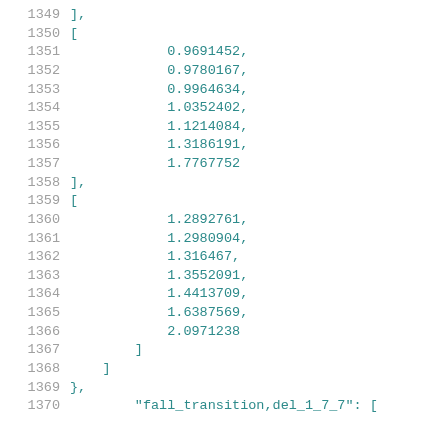Code listing lines 1349-1370 showing numeric array data
1349    ],
1350    [
1351        0.9691452,
1352        0.9780167,
1353        0.9964634,
1354        1.0352402,
1355        1.1214084,
1356        1.3186191,
1357        1.7767752
1358    ],
1359    [
1360        1.2892761,
1361        1.2980904,
1362        1.316467,
1363        1.3552091,
1364        1.4413709,
1365        1.6387569,
1366        2.0971238
1367    ]
1368        ]
1369        },
1370        "fall_transition,del_1_7_7": [